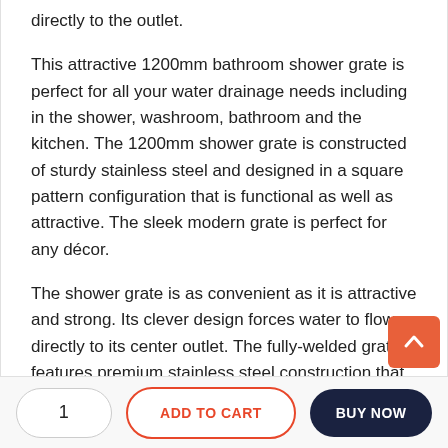directly to the outlet.
This attractive 1200mm bathroom shower grate is perfect for all your water drainage needs including in the shower, washroom, bathroom and the kitchen. The 1200mm shower grate is constructed of sturdy stainless steel and designed in a square pattern configuration that is functional as well as attractive. The sleek modern grate is perfect for any décor.
The shower grate is as convenient as it is attractive and strong. Its clever design forces water to flow directly to its center outlet. The fully-welded grate features premium stainless steel construction that ensures the reliable and long-lasting drainage performance that you expect.
Order one of this durable and efficient shower grates for each
1   ADD TO CART   BUY NOW